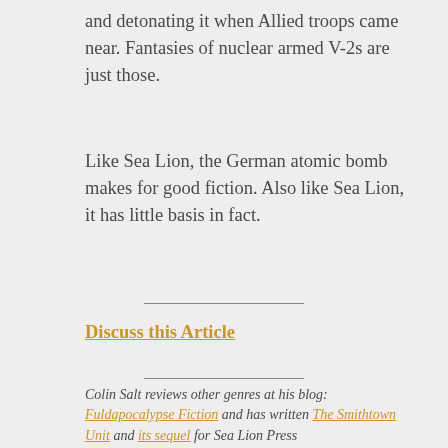and detonating it when Allied troops came near. Fantasies of nuclear armed V-2s are just those.
Like Sea Lion, the German atomic bomb makes for good fiction. Also like Sea Lion, it has little basis in fact.
Discuss this Article
Colin Salt reviews other genres at his blog: Fuldapocalypse Fiction and has written The Smithtown Unit and its sequel for Sea Lion Press
Colin Salt